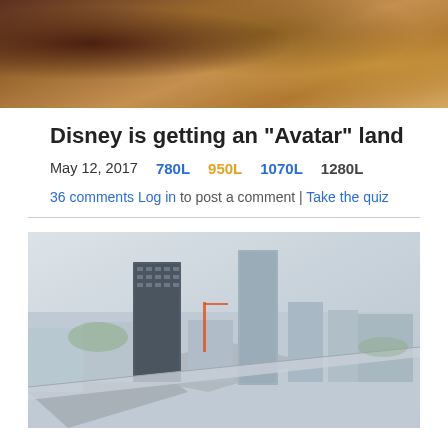[Figure (photo): Close-up photo of what appears to be painted or carved lion/animal figures with warm brown and gold tones]
Disney is getting an "Avatar" land
May 12, 2017    780L   950L   1070L   1280L
36 comments Log in to post a comment | Take the quiz
[Figure (photo): Aerial photograph of a dense urban cityscape with tall skyscrapers and city infrastructure, appears to be a major Asian city, in slightly desaturated tones]